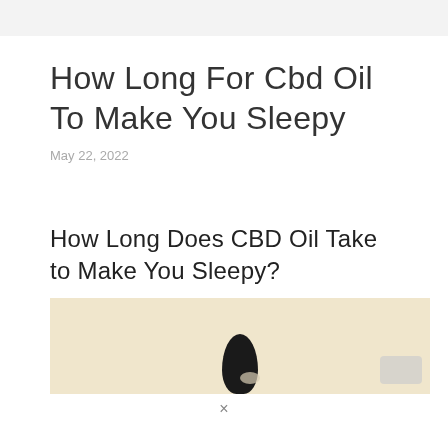How Long For Cbd Oil To Make You Sleepy
May 22, 2022
How Long Does CBD Oil Take to Make You Sleepy?
[Figure (photo): Photo of a CBD oil dropper bottle on a light beige/cream background, with a gray badge/label element in the bottom right corner.]